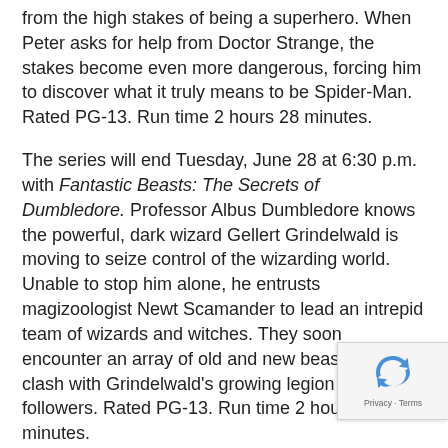from the high stakes of being a superhero. When Peter asks for help from Doctor Strange, the stakes become even more dangerous, forcing him to discover what it truly means to be Spider-Man. Rated PG-13. Run time 2 hours 28 minutes.
The series will end Tuesday, June 28 at 6:30 p.m. with Fantastic Beasts: The Secrets of Dumbledore. Professor Albus Dumbledore knows the powerful, dark wizard Gellert Grindelwald is moving to seize control of the wizarding world. Unable to stop him alone, he entrusts magizoologist Newt Scamander to lead an intrepid team of wizards and witches. They soon encounter an array of old and new beasts as they clash with Grindelwald's growing legion of followers. Rated PG-13. Run time 2 hours 23 minutes.
Tickets to see these movies are now on sale at www.bolognapac.com or at the BPAC Ticket Office 662.846.4626.